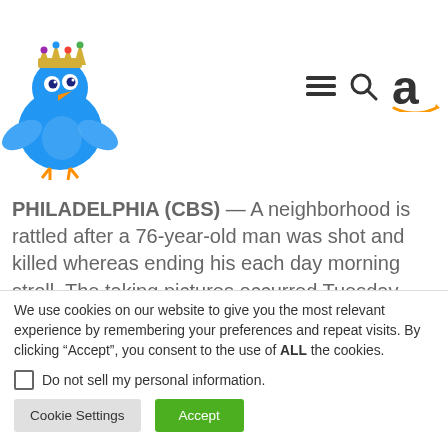[Figure (logo): Blue cartoon Twitter bird mascot wearing a jeweled crown, with wings spread]
[Figure (infographic): Navigation bar icons: hamburger menu (three horizontal lines), search magnifying glass, and Amazon 'a' logo with smile arrow]
PHILADELPHIA (CBS) — A neighborhood is rattled after a 76-year-old man was shot and killed whereas ending his each day morning stroll. The taking pictures occurred Tuesday morning within the 4200 block of L Avenue in Philadelphia's Juniata neighborhood.
We use cookies on our website to give you the most relevant experience by remembering your preferences and repeat visits. By clicking “Accept”, you consent to the use of ALL the cookies.
Do not sell my personal information.